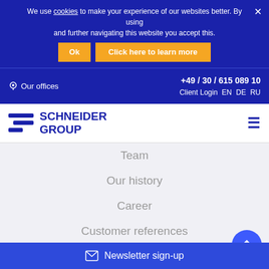We use cookies to make your experience of our websites better. By using and further navigating this website you accept this.
Ok   Click here to learn more
Our offices   +49 / 30 / 615 089 10   Client Login   EN   DE   RU
SCHNEIDER GROUP
Team
Our history
Career
Customer references
Customers
Videos
Business partners
SUCCESS STORIES
NEWS
Newsletter sign-up